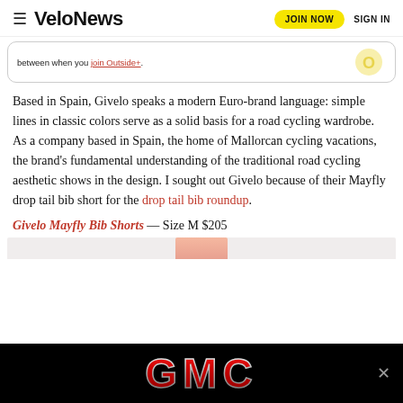≡ VeloNews  JOIN NOW  SIGN IN
between when you join Outside+.
Based in Spain, Givelo speaks a modern Euro-brand language: simple lines in classic colors serve as a solid basis for a road cycling wardrobe. As a company based in Spain, the home of Mallorcan cycling vacations, the brand's fundamental understanding of the traditional road cycling aesthetic shows in the design. I sought out Givelo because of their Mayfly drop tail bib short for the drop tail bib roundup.
Givelo Mayfly Bib Shorts — Size M $205
[Figure (photo): Partial product image and GMC advertisement banner at bottom]
[Figure (logo): GMC logo advertisement banner in red and silver letters on black background]